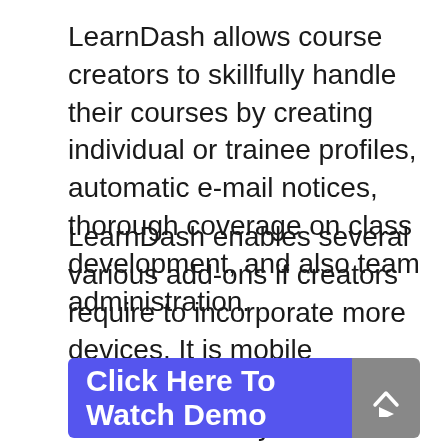LearnDash allows course creators to skillfully handle their courses by creating individual or trainee profiles, automatic e-mail notices, thorough coverage on class development, and also team administration.
LearnDash enables several various add-ons if creators require to incorporate more devices. It is mobile compatible, and individuals can execute any kind of WordPress theme they want with their courses.
[Figure (other): Blue button labeled 'Click Here To Watch Demo' with a play icon on the right side in a grey square]